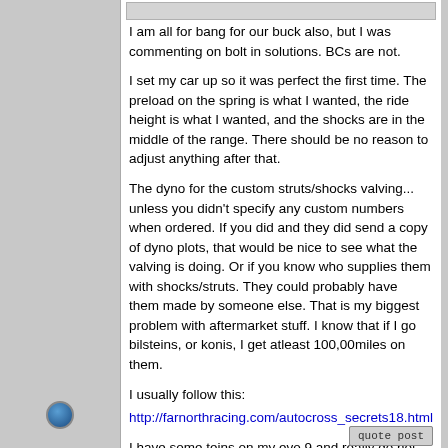I am all for bang for our buck also, but I was commenting on bolt in solutions. BCs are not.
I set my car up so it was perfect the first time. The preload on the spring is what I wanted, the ride height is what I wanted, and the shocks are in the middle of the range. There should be no reason to adjust anything after that.
The dyno for the custom struts/shocks valving... unless you didn't specify any custom numbers when ordered. If you did and they did send a copy of dyno plots, that would be nice to see what the valving is doing. Or if you know who supplies them with shocks/struts. They could probably have them made by someone else. That is my biggest problem with aftermarket stuff. I know that if I go bilsteins, or konis, I get atleast 100,00miles on them.
I usually follow this:
http://farnorthracing.com/autocross_secrets18.html
I have some teins on my evo 9 and really do not like them. Already feel like they are wearing out and they have like 30,000miles on them.